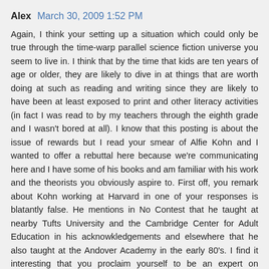Alex  March 30, 2009 1:52 PM
Again, I think your setting up a situation which could only be true through the time-warp parallel science fiction universe you seem to live in. I think that by the time that kids are ten years of age or older, they are likely to dive in at things that are worth doing at such as reading and writing since they are likely to have been at least exposed to print and other literacy activities (in fact I was read to by my teachers through the eighth grade and I wasn't bored at all). I know that this posting is about the issue of rewards but I read your smear of Alfie Kohn and I wanted to offer a rebuttal here because we're communicating here and I have some of his books and am familiar with his work and the theorists you obviously aspire to. First off, you remark about Kohn working at Harvard in one of your responses is blatantly false. He mentions in No Contest that he taught at nearby Tufts University and the Cambridge Center for Adult Education in his acknowkledgements and elsewhere that he also taught at the Andover Academy in the early 80's. I find it interesting that you proclaim yourself to be an expert on education when you're just an attorney from Pennsylvania. Your invocation of the author Michael